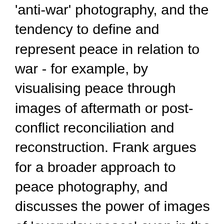'anti-war' photography, and the tendency to define and represent peace in relation to war - for example, by visualising peace through images of aftermath or post-conflict reconciliation and reconstruction. Frank argues for a broader approach to peace photography, and discusses the power of images of 'everyday peace' even in the midst of a war. He argues that if we can capture images of everyday peaceful practices, their momentum might grow and they might go on to generate more peaceful practices in turn. We also talk about the role that images of peace can play in mediation processes, through 'active looking'. As Frank puts it in one of his books, 'images reflect the world; in order to change the world, we